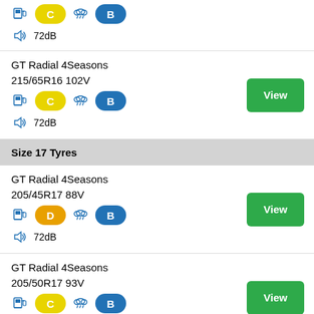[Figure (infographic): Tyre rating row (partial, top): fuel icon C badge, rain cloud icon, B badge, sound icon 72dB]
GT Radial 4Seasons 215/65R16 102V | C | B | 72dB | View
Size 17 Tyres
GT Radial 4Seasons 205/45R17 88V | D | B | 72dB | View
GT Radial 4Seasons 205/50R17 93V | C | B | 72dB | View